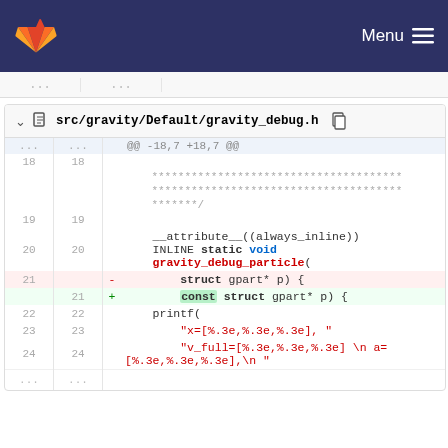Menu
src/gravity/Default/gravity_debug.h
@@ -18,7 +18,7 @@
18  18
   ************************************** 
   ************************************** 
   *******/
19  19
20  20  __attribute__((always_inline))
        INLINE static void
        gravity_debug_particle(
21  -       struct gpart* p) {
    21  +   const struct gpart* p) {
22  22      printf(
23  23          "x=[%.3e,%.3e,%.3e], "
24  24          "v_full=[%.3e,%.3e,%.3e] \n a=
        [%.3e,%.3e,%.3e],\n "